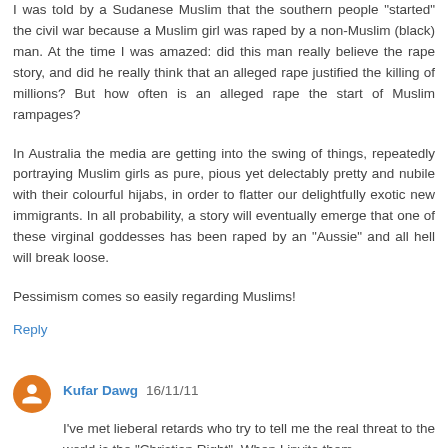I was told by a Sudanese Muslim that the southern people "started" the civil war because a Muslim girl was raped by a non-Muslim (black) man. At the time I was amazed: did this man really believe the rape story, and did he really think that an alleged rape justified the killing of millions? But how often is an alleged rape the start of Muslim rampages?
In Australia the media are getting into the swing of things, repeatedly portraying Muslim girls as pure, pious yet delectably pretty and nubile with their colourful hijabs, in order to flatter our delightfully exotic new immigrants. In all probability, a story will eventually emerge that one of these virginal goddesses has been raped by an "Aussie" and all hell will break loose.
Pessimism comes so easily regarding Muslims!
Reply
Kufar Dawg  16/11/11
I've met lieberal retards who try to tell me the real threat to the world is the "Christian Right". When I invite them